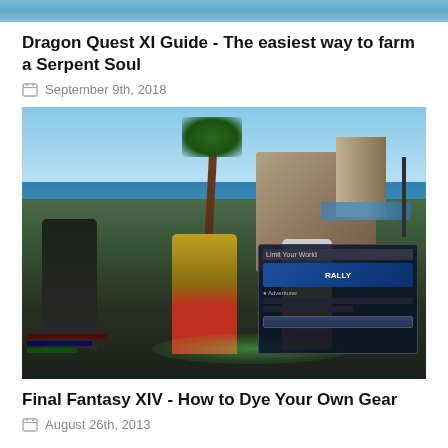[Figure (screenshot): Partial top of a previous article screenshot]
Dragon Quest XI Guide - The easiest way to farm a Serpent Soul
September 9th, 2018
[Figure (screenshot): Final Fantasy XIV gameplay screenshot showing characters in a coastal town area with a UI dialog box visible]
Final Fantasy XIV - How to Dye Your Own Gear
August 26th, 2013